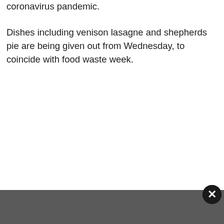coronavirus pandemic.
Dishes including venison lasagne and shepherds pie are being given out from Wednesday, to coincide with food waste week.